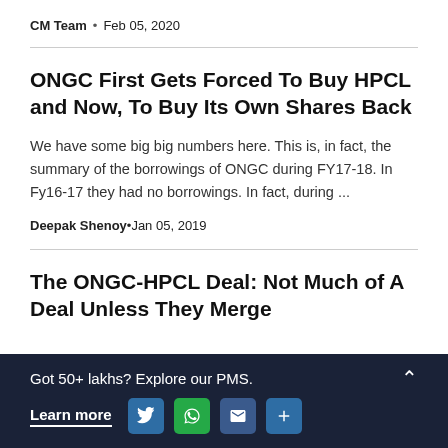CM Team · Feb 05, 2020
ONGC First Gets Forced To Buy HPCL and Now, To Buy Its Own Shares Back
We have some big big numbers here. This is, in fact, the summary of the borrowings of ONGC during FY17-18. In Fy16-17 they had no borrowings. In fact, during ...
Deepak Shenoy · Jan 05, 2019
The ONGC-HPCL Deal: Not Much of A Deal Unless They Merge
Got 50+ lakhs? Explore our PMS. Learn more